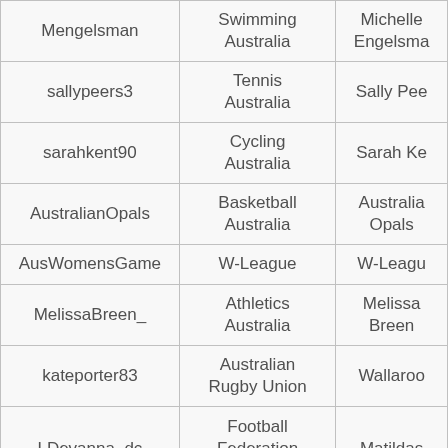| Username | Organisation | Name |
| --- | --- | --- |
| Mengelsman | Swimming Australia | Michelle Engelsma |
| sallypeers3 | Tennis Australia | Sally Pee |
| sarahkent90 | Cycling Australia | Sarah Ke |
| AustralianOpals | Basketball Australia | Australian Opals |
| AusWomensGame | W-League | W-League |
| MelissaBreen_ | Athletics Australia | Melissa Breen |
| kateporter83 | Australian Rugby Union | Wallaroo |
| LDevanna_dc | Football Federation Australia | Matildas |
| LaurenBoden | Athletics Australia | Lauren Boden |